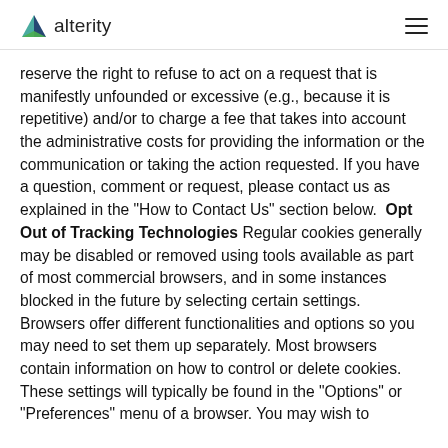alterity
reserve the right to refuse to act on a request that is manifestly unfounded or excessive (e.g., because it is repetitive) and/or to charge a fee that takes into account the administrative costs for providing the information or the communication or taking the action requested. If you have a question, comment or request, please contact us as explained in the “How to Contact Us” section below.  Opt Out of Tracking Technologies Regular cookies generally may be disabled or removed using tools available as part of most commercial browsers, and in some instances blocked in the future by selecting certain settings.  Browsers offer different functionalities and options so you may need to set them up separately. Most browsers contain information on how to control or delete cookies. These settings will typically be found in the “Options” or “Preferences” menu of a browser. You may wish to